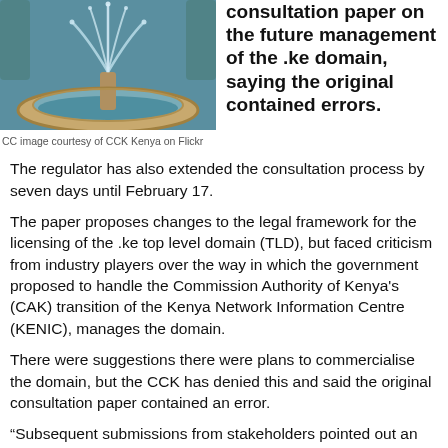[Figure (photo): Fountain with water spraying, surrounded by a circular stone basin, outdoor setting]
CC image courtesy of CCK Kenya on Flickr
consultation paper on the future management of the .ke domain, saying the original contained errors.
The regulator has also extended the consultation process by seven days until February 17.
The paper proposes changes to the legal framework for the licensing of the .ke top level domain (TLD), but faced criticism from industry players over the way in which the government proposed to handle the Commission Authority of Kenya's (CAK) transition of the Kenya Network Information Centre (KENIC), manages the domain.
There were suggestions there were plans to commercialise the domain, but the CCK has denied this and said the original consultation paper contained an error.
“Subsequent submissions from stakeholders pointed out an inadvertent error in the public consultation paper where it